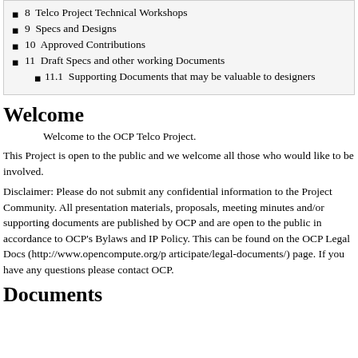8  Telco Project Technical Workshops
9  Specs and Designs
10  Approved Contributions
11  Draft Specs and other working Documents
11.1  Supporting Documents that may be valuable to designers
Welcome
Welcome to the OCP Telco Project.
This Project is open to the public and we welcome all those who would like to be involved.
Disclaimer: Please do not submit any confidential information to the Project Community. All presentation materials, proposals, meeting minutes and/or supporting documents are published by OCP and are open to the public in accordance to OCP's Bylaws and IP Policy. This can be found on the OCP Legal Docs (http://www.opencompute.org/participate/legal-documents/) page. If you have any questions please contact OCP.
Documents